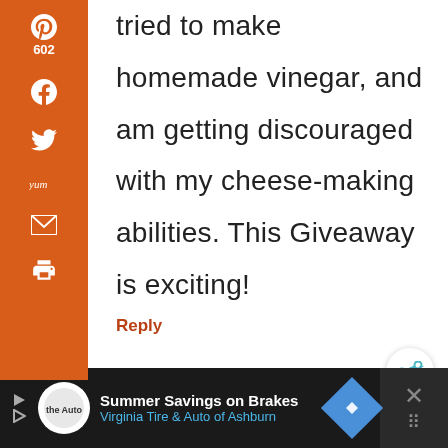[Figure (screenshot): Orange vertical social sharing sidebar with Pinterest (602), Facebook, Twitter, Yummly, Email, and Print icons]
tried to make homemade vinegar, and am getting discouraged with my cheese-making abilities. This Giveaway is exciting!
Reply
602
SHARES
MARE P. SAYS
[Figure (screenshot): Advertisement bar: Summer Savings on Brakes - Virginia Tire & Auto of Ashburn]